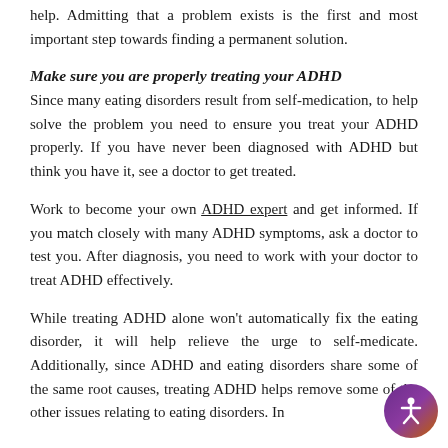help. Admitting that a problem exists is the first and most important step towards finding a permanent solution.
Make sure you are properly treating your ADHD
Since many eating disorders result from self-medication, to help solve the problem you need to ensure you treat your ADHD properly. If you have never been diagnosed with ADHD but think you have it, see a doctor to get treated.
Work to become your own ADHD expert and get informed. If you match closely with many ADHD symptoms, ask a doctor to test you. After diagnosis, you need to work with your doctor to treat ADHD effectively.
While treating ADHD alone won't automatically fix the eating disorder, it will help relieve the urge to self-medicate. Additionally, since ADHD and eating disorders share some of the same root causes, treating ADHD helps remove some of the other issues relating to eating disorders. In